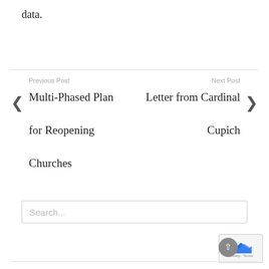data.
Previous Post
Multi-Phased Plan for Reopening Churches
Next Post
Letter from Cardinal Cupich